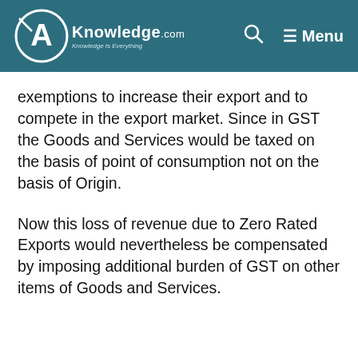A Knowledge.com — Menu
exemptions to increase their export and to compete in the export market. Since in GST the Goods and Services would be taxed on the basis of point of consumption not on the basis of Origin.
Now this loss of revenue due to Zero Rated Exports would nevertheless be compensated by imposing additional burden of GST on other items of Goods and Services.